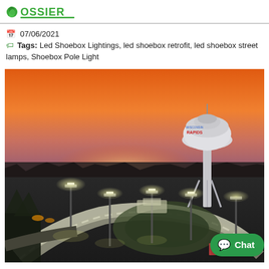OSSIER (logo)
07/06/2021  Tags: Led Shoebox Lightings, led shoebox retrofit, led shoebox street lamps, Shoebox Pole Light
[Figure (photo): Aerial drone photo at dusk/sunset of a BMX or pump track facility lit by LED shoebox lights, with a Wisconsin Rapids water tower prominently visible in the background against an orange sunset sky.]